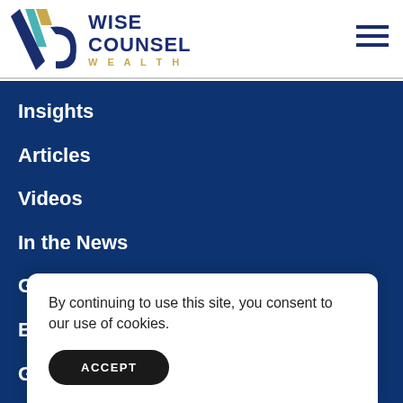[Figure (logo): Wise Counsel Wealth logo with stylized WC monogram in navy, teal, and gold, and text 'WISE COUNSEL WEALTH']
Insights
Articles
Videos
In the News
Guides
Books
Gl...
By continuing to use this site, you consent to our use of cookies.
ACCEPT